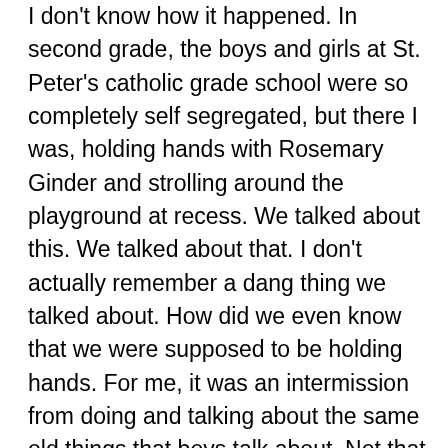I don't know how it happened.  In second grade, the boys and girls at St. Peter's catholic grade school were so completely self segregated, but there I was, holding hands with Rosemary Ginder and strolling around the playground at recess.  We talked about this. We talked about that. I don't actually remember a dang thing we talked about.  How did we even know that we were supposed to be holding hands.  For me, it was an intermission from doing and talking about the same old things that boys talk about.  Not that there's anything wrong with that.  I am a stereotypical boy in most ways, but I get tired of one point of view for too long.  Is it not more interesting to see the world from multiple vantage points.  Because of this curiosity, I never was an integral part of any click.  I was, however, a peripheral part of many clicks, ducking in and out as I pleased.  It